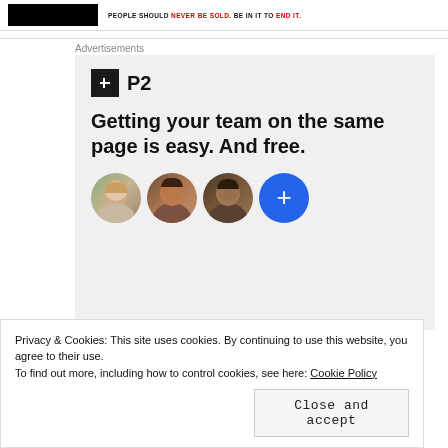PEOPLE SHOULD NEVER BE SOLD. BE IN IT TO END IT.
Advertisements
[Figure (screenshot): P2 advertisement: logo with dark square icon and P2 text, headline 'Getting your team on the same page is easy. And free.' with three circular avatar photos and a blue plus button.]
Privacy & Cookies: This site uses cookies. By continuing to use this website, you agree to their use.
To find out more, including how to control cookies, see here: Cookie Policy
Close and accept